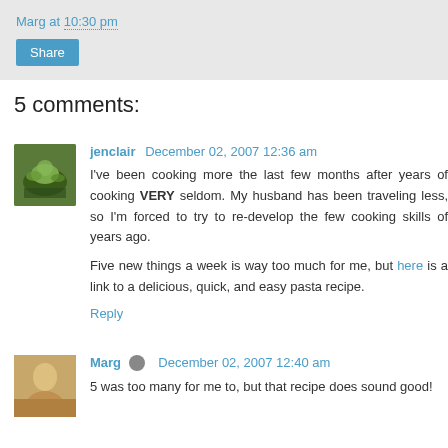Marg at 10:30 pm
Share
5 comments:
jenclair  December 02, 2007 12:36 am
I've been cooking more the last few months after years of cooking VERY seldom. My husband has been traveling less, so I'm forced to try to re-develop the few cooking skills of years ago.

Five new things a week is way too much for me, but here is a link to a delicious, quick, and easy pasta recipe.
Reply
Marg  December 02, 2007 12:40 am
5 was too many for me to, but that recipe does sound good!